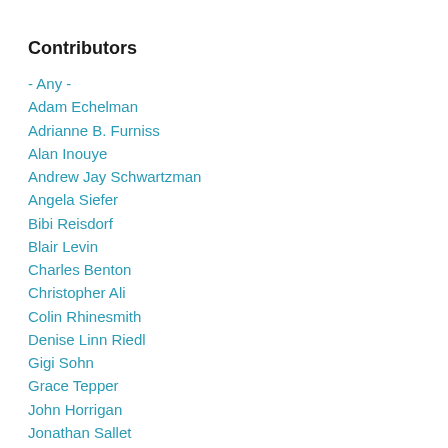Contributors
- Any -
Adam Echelman
Adrianne B. Furniss
Alan Inouye
Andrew Jay Schwartzman
Angela Siefer
Bibi Reisdorf
Blair Levin
Charles Benton
Christopher Ali
Colin Rhinesmith
Denise Linn Riedl
Gigi Sohn
Grace Tepper
John Horrigan
Jonathan Sallet
Kevin Taglang
Michael Copps
Robbie McBeath
Sharon Strover